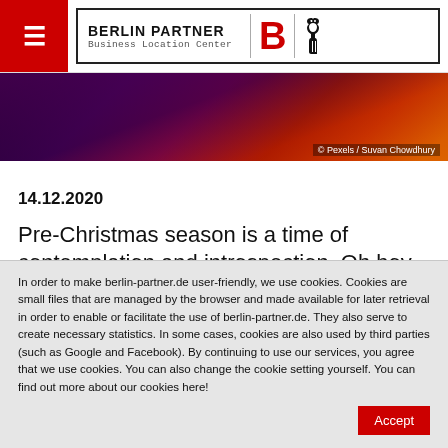[Figure (logo): Berlin Partner Business Location Center logo with red B and Berlin bear, hamburger menu icon on red background]
[Figure (photo): Dark purple to red-orange gradient hero banner image, photo credit: © Pexels / Suvan Chowdhury]
© Pexels / Suvan Chowdhury
14.12.2020
Pre-Christmas season is a time of contemplation and introspection. Oh boy, 2020 has been a rough one: distancing rules instead of drinks with friends
In order to make berlin-partner.de user-friendly, we use cookies. Cookies are small files that are managed by the browser and made available for later retrieval in order to enable or facilitate the use of berlin-partner.de. They also serve to create necessary statistics. In some cases, cookies are also used by third parties (such as Google and Facebook). By continuing to use our services, you agree that we use cookies. You can also change the cookie setting yourself. You can find out more about our cookies here!